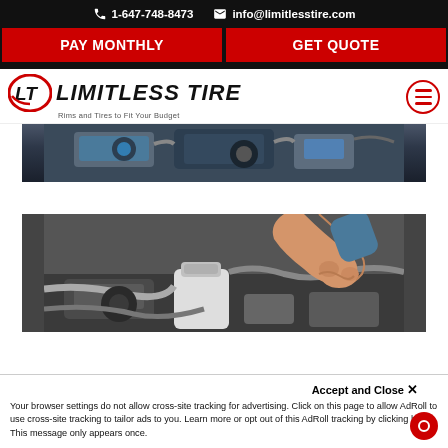1-647-748-8473  info@limitlesstire.com
[Figure (screenshot): Two red CTA buttons: PAY MONTHLY and GET QUOTE on black background]
[Figure (logo): Limitless Tire logo with LT emblem and tagline: Rims and Tires to Fit Your Budget]
[Figure (photo): Close-up photo of a car engine bay (top portion visible)]
[Figure (photo): Close-up photo of a mechanic's hand working on a car engine]
Accept and Close ✕
Your browser settings do not allow cross-site tracking for advertising. Click on this page to allow AdRoll to use cross-site tracking to tailor ads to you. Learn more or opt out of this AdRoll tracking by clicking here. This message only appears once.